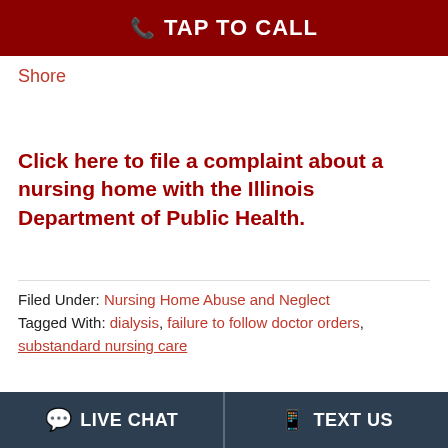TAP TO CALL
Shore
Click here to file a complaint about a nursing home with the Illinois Department of Public Health.
Filed Under: Nursing Home Abuse and Neglect
Tagged With: dialysis, failure to follow doctor orders, substandard nursing care
LIVE CHAT   TEXT US